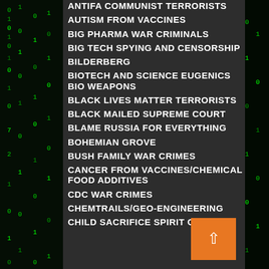ANTIFA COMMUNIST TERRORISTS
AUTISM FROM VACCINES
BIG PHARMA WAR CRIMINALS
BIG TECH SPYING AND CENSORSHIP
BILDERBERG
BIOTECH AND SCIENCE EUGENICS BIO WEAPONS
BLACK LIVES MATTER TERRORISTS
BLACK MAILED SUPREME COURT
BLAME RUSSIA FOR EVERYTHING
BOHEMIAN GROVE
BUSH FAMILY WAR CRIMES
CANCER FROM VACCINES/CHEMICAL FOOD ADDITIVES
CDC WAR CRIMES
CHEMTRAILS/GEO-ENGINEERING
CHILD SACRIFICE SPIRIT COOKING